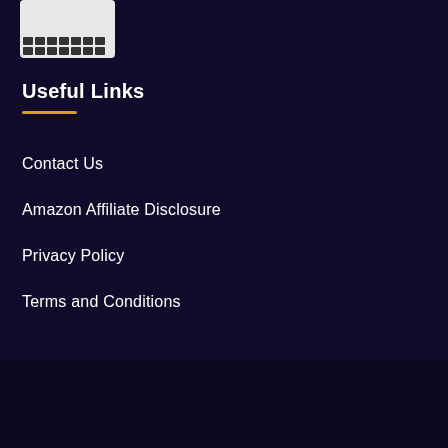[Figure (screenshot): Thumbnail image of a network/device panel screenshot]
Useful Links
Contact Us
Amazon Affiliate Disclosure
Privacy Policy
Terms and Conditions
COPYRIGHT © 2021 · MYHUNET.COM, ALL RIGHTS RESERVED
Myhunet is a participant in the Amazon Services LLC Associates